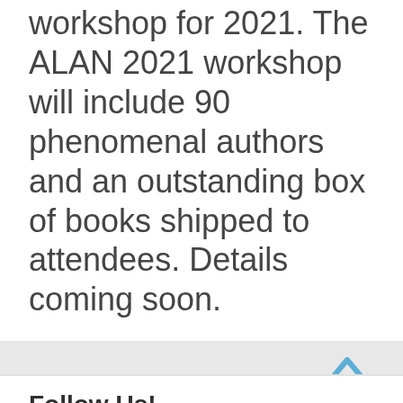workshop for 2021. The ALAN 2021 workshop will include 90 phenomenal authors and an outstanding box of books shipped to attendees. Details coming soon.
Announcements   ALAN Workshop, Workshop
Follow Us!